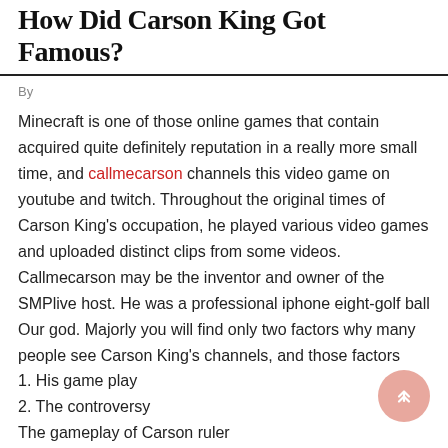How Did Carson King Got Famous?
By
Minecraft is one of those online games that contain acquired quite definitely reputation in a really more small time, and callmecarson channels this video game on youtube and twitch. Throughout the original times of Carson King's occupation, he played various video games and uploaded distinct clips from some videos. Callmecarson may be the inventor and owner of the SMPlive host. He was a professional iphone eight-golf ball Our god. Majorly you will find only two factors why many people see Carson King's channels, and those factors
1. His game play
2. The controversy
The gameplay of Carson ruler
1. Teach you ingenuity